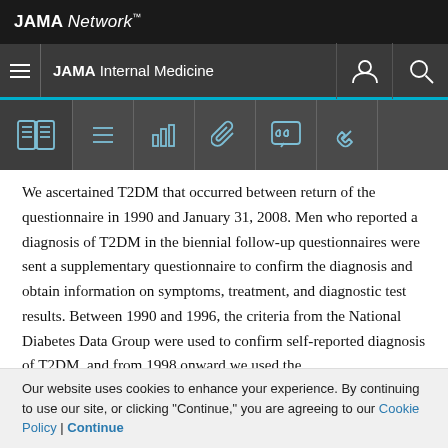JAMA Network
JAMA Internal Medicine
We ascertained T2DM that occurred between return of the questionnaire in 1990 and January 31, 2008. Men who reported a diagnosis of T2DM in the biennial follow-up questionnaires were sent a supplementary questionnaire to confirm the diagnosis and obtain information on symptoms, treatment, and diagnostic test results. Between 1990 and 1996, the criteria from the National Diabetes Data Group were used to confirm self-reported diagnosis of T2DM, and from 1998 onward we used the
Our website uses cookies to enhance your experience. By continuing to use our site, or clicking "Continue," you are agreeing to our Cookie Policy | Continue